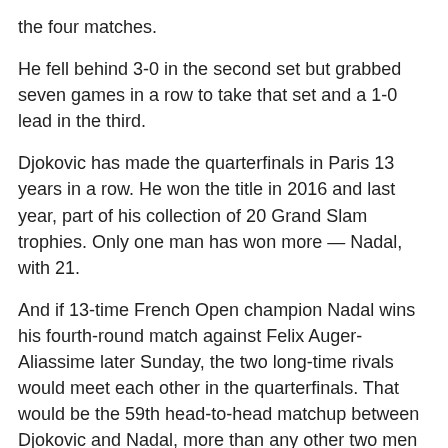the four matches.
He fell behind 3-0 in the second set but grabbed seven games in a row to take that set and a 1-0 lead in the third.
Djokovic has made the quarterfinals in Paris 13 years in a row. He won the title in 2016 and last year, part of his collection of 20 Grand Slam trophies. Only one man has won more — Nadal, with 21.
And if 13-time French Open champion Nadal wins his fourth-round match against Felix Auger-Aliassime later Sunday, the two long-time rivals would meet each other in the quarterfinals. That would be the 59th head-to-head matchup between Djokovic and Nadal, more than any other two men in the professional era of tennis.
Nadal heads into his match against Auger-Aliassime with 15 quarterfinal appearances at Paris.
2:15 p.m.